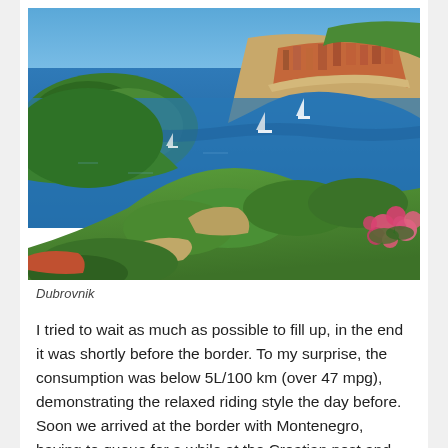[Figure (photo): Aerial panoramic photo of Dubrovnik, Croatia, showing the old walled city on a peninsula with terracotta rooftops, surrounded by deep blue Adriatic Sea waters, with green forested hills and pink flowering oleander bushes in the foreground, and sailboats on the water.]
Dubrovnik
I tried to wait as much as possible to fill up, in the end it was shortly before the border. To my surprise, the consumption was below 5L/100 km (over 47 mpg), demonstrating the relaxed riding style the day before. Soon we arrived at the border with Montenegro, having to queue for a while at the Croatian post and the same at the second check point with the Montenegrin police. I took a deep breath and